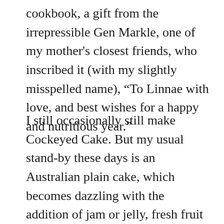cookbook, a gift from the irrepressible Gen Markle, one of my mother's closest friends, who inscribed it (with my slightly misspelled name), “To Linnae with love, and best wishes for a happy and nutritious year.”
I still occasionally still make Cockeyed Cake. But my usual stand-by these days is an Australian plain cake, which becomes dazzling with the addition of jam or jelly, fresh fruit (strawberries, blueberries, kiwis, raspberries, or whatever is available). A few dollops of Grand Marnier or Amaretto and lots of freshly whipped cream hold the layers together and cover the whole thing. I call it Australian Cake, although there’s probably nothing Australian